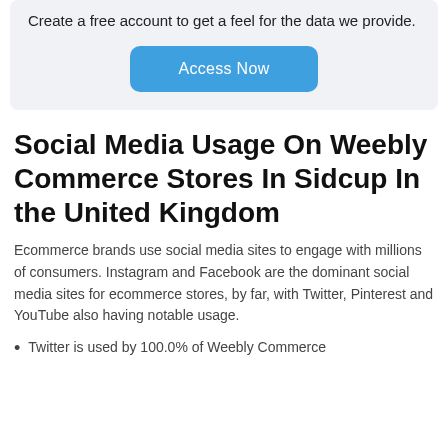Create a free account to get a feel for the data we provide.
Access Now
Social Media Usage On Weebly Commerce Stores In Sidcup In the United Kingdom
Ecommerce brands use social media sites to engage with millions of consumers. Instagram and Facebook are the dominant social media sites for ecommerce stores, by far, with Twitter, Pinterest and YouTube also having notable usage.
Twitter is used by 100.0% of Weebly Commerce